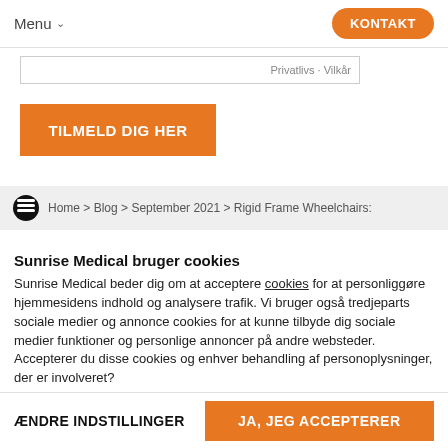Menu ∨   KONTAKT
Privatlivs - Vilkår
TILMELD DIG HER
Home > Blog > September 2021 > Rigid Frame Wheelchairs:
Sunrise Medical bruger cookies
Sunrise Medical beder dig om at acceptere cookies for at personliggøre hjemmesidens indhold og analysere trafik. Vi bruger også tredjeparts sociale medier og annonce cookies for at kunne tilbyde dig sociale medier funktioner og personlige annoncer på andre websteder. Accepterer du disse cookies og enhver behandling af personoplysninger, der er involveret?
ÆNDRE INDSTILLINGER   JA, JEG ACCEPTERER